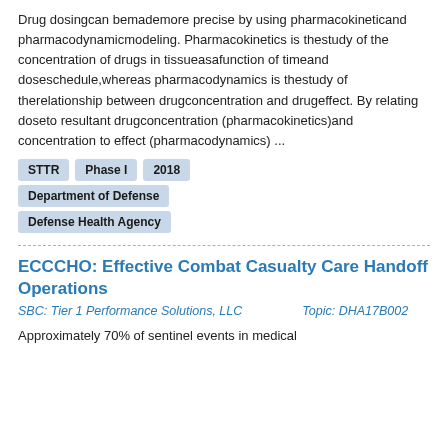Drug dosingcan bemademore precise by using pharmacokineticand pharmacodynamicmodeling. Pharmacokinetics is thestudy of the concentration of drugs in tissueasafunction of timeand doseschedule,whereas pharmacodynamics is thestudy of therelationship between drugconcentration and drugeffect. By relating doseto resultant drugconcentration (pharmacokinetics)and concentration to effect (pharmacodynamics) ...
STTR
Phase I
2018
Department of Defense
Defense Health Agency
ECCCHO: Effective Combat Casualty Care Handoff Operations
SBC: Tier 1 Performance Solutions, LLC    Topic: DHA17B002
Approximately 70% of sentinel events in medical